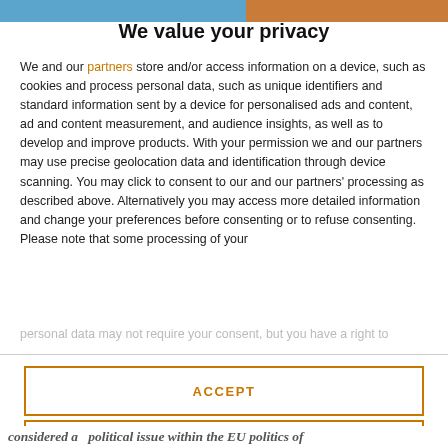We value your privacy
We and our partners store and/or access information on a device, such as cookies and process personal data, such as unique identifiers and standard information sent by a device for personalised ads and content, ad and content measurement, and audience insights, as well as to develop and improve products. With your permission we and our partners may use precise geolocation data and identification through device scanning. You may click to consent to our and our partners' processing as described above. Alternatively you may access more detailed information and change your preferences before consenting or to refuse consenting. Please note that some processing of your personal data may not require your consent, but you have a right to
ACCEPT
MORE OPTIONS
considered a  political issue within the EU politics of